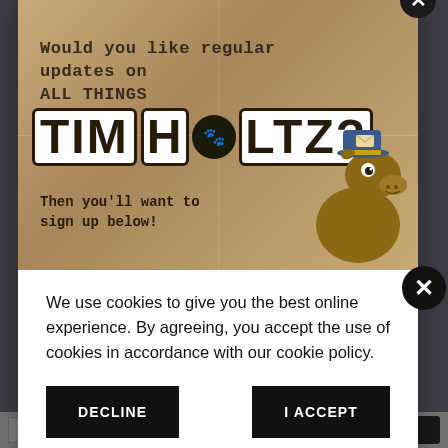[Figure (illustration): Tim Holtz newsletter signup banner with cartoon horse character on a brown paper background. Text reads 'Would you like regular updates on ALL THINGS TIM HOLTZ? Then you'll want to sign up below!']
We use cookies to give you the best online experience. By agreeing, you accept the use of cookies in accordance with our cookie policy.
DECLINE
I ACCEPT
Privacy Policy   Cookie Policy